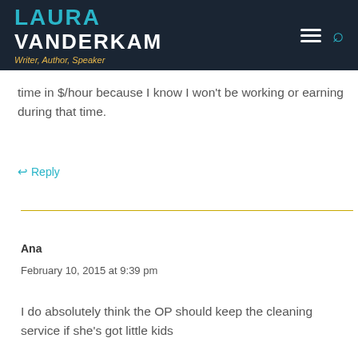LAURA VANDERKAM - Writer, Author, Speaker
time in $/hour because I know I won't be working or earning during that time.
↩ Reply
Ana
February 10, 2015 at 9:39 pm
I do absolutely think the OP should keep the cleaning service if she's got little kids